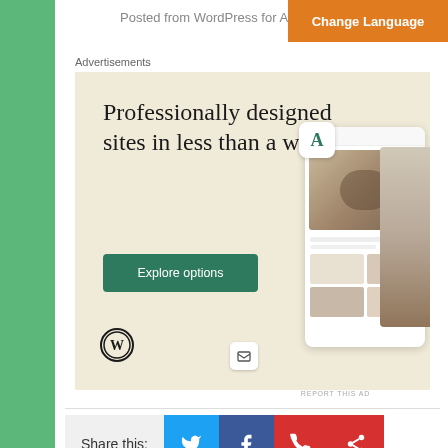Posted from WordPress for A...
Change Language
Advertisements
[Figure (infographic): Advertisement banner with cream/beige background. Large serif text reads 'Professionally designed sites in less than a week'. A green 'Explore options' button below. WordPress logo bottom left. Right side shows mockup screenshots of a website/app with food imagery. Small icon with envelope/box symbol visible.]
REPORT THIS AD
Share this:
[Figure (infographic): Social share buttons: Twitter (blue bird icon), Facebook (blue f icon), WhatsApp (red phone icon), Share (red < icon)]